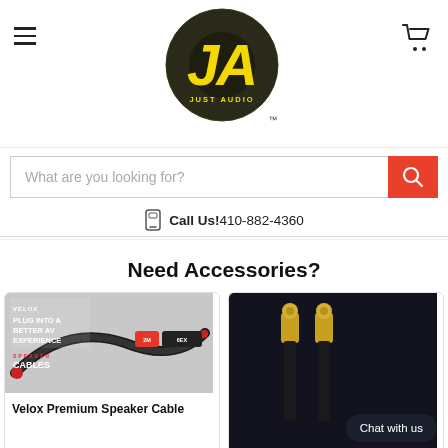[Figure (logo): JA Just Audio circular logo with yellow 'JA' text on dark background with TM mark]
What are you looking for?
Call Us!410-882-4360
Need Accessories?
[Figure (photo): Velox Premium Speaker Cable product image showing braided cable with VELOX branding]
Velox Premium Speaker Cable
[Figure (photo): RCA connector cables with gold tips on dark background]
Chat with us